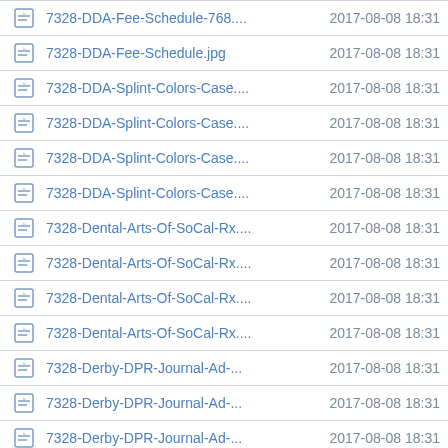|  | Name | Date |
| --- | --- | --- |
| [img] | 7328-DDA-Fee-Schedule-768.... | 2017-08-08 18:31 |
| [img] | 7328-DDA-Fee-Schedule.jpg | 2017-08-08 18:31 |
| [img] | 7328-DDA-Splint-Colors-Case.... | 2017-08-08 18:31 |
| [img] | 7328-DDA-Splint-Colors-Case.... | 2017-08-08 18:31 |
| [img] | 7328-DDA-Splint-Colors-Case.... | 2017-08-08 18:31 |
| [img] | 7328-DDA-Splint-Colors-Case.... | 2017-08-08 18:31 |
| [img] | 7328-Dental-Arts-Of-SoCal-Rx.... | 2017-08-08 18:31 |
| [img] | 7328-Dental-Arts-Of-SoCal-Rx.... | 2017-08-08 18:31 |
| [img] | 7328-Dental-Arts-Of-SoCal-Rx.... | 2017-08-08 18:31 |
| [img] | 7328-Dental-Arts-Of-SoCal-Rx.... | 2017-08-08 18:31 |
| [img] | 7328-Derby-DPR-Journal-Ad-... | 2017-08-08 18:31 |
| [img] | 7328-Derby-DPR-Journal-Ad-... | 2017-08-08 18:31 |
| [img] | 7328-Derby-DPR-Journal-Ad-... | 2017-08-08 18:31 |